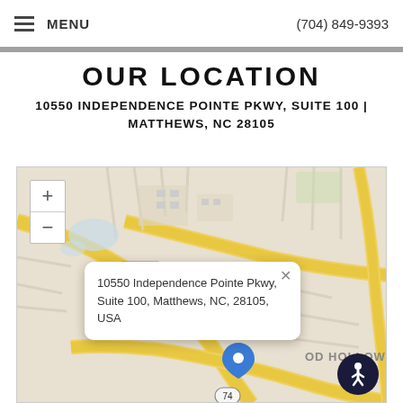MENU | (704) 849-9393
OUR LOCATION
10550 INDEPENDENCE POINTE PKWY, SUITE 100 | MATTHEWS, NC 28105
[Figure (map): Interactive street map centered on 10550 Independence Pointe Pkwy, Matthews, NC with a popup showing the address and a blue location pin marker. Zoom controls visible at top left.]